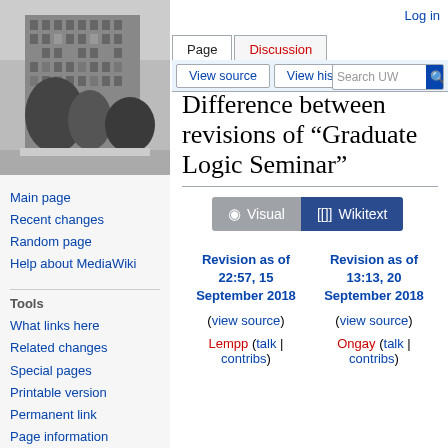[Figure (photo): Black and white photo of a large multi-storey building with trees in front]
Log in
Page | Discussion | View source | View history | Search UW
Difference between revisions of "Graduate Logic Seminar"
[Figure (other): Visual / Wikitext toggle buttons]
Main page
Recent changes
Random page
Help about MediaWiki
Tools
What links here
Related changes
Special pages
Printable version
Permanent link
Page information
Cite this page
| Revision as of 22:57, 15 September 2018 | Revision as of 13:13, 20 September 2018 |
| --- | --- |
| (view source) | (view source) |
| Lempp (talk | contribs) | Ongay (talk | contribs) |